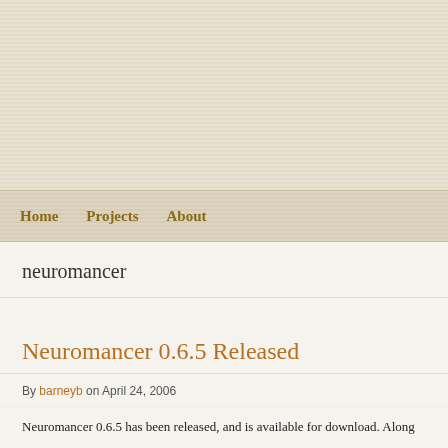[Figure (other): Website header banner with linen/canvas textured beige background]
Home   Projects   About
neuromancer
Neuromancer 0.6.5 Released
By barneyb on April 24, 2006
Neuromancer 0.6.5 has been released, and is available for download.  Along